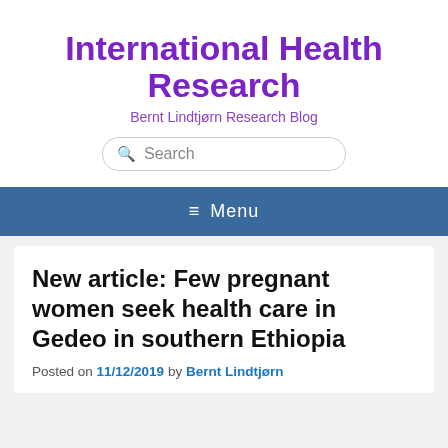International Health Research
Bernt Lindtjørn Research Blog
Menu
New article: Few pregnant women seek health care in Gedeo in southern Ethiopia
Posted on 11/12/2019 by Bernt Lindtjørn